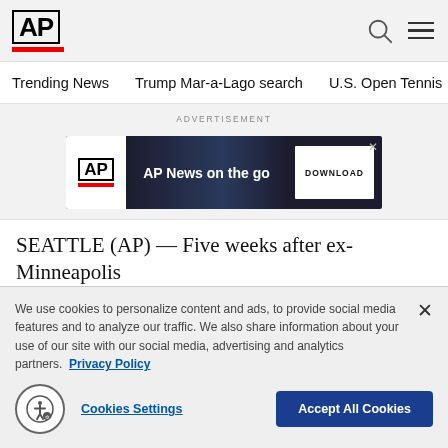AP
Trending News   Trump Mar-a-Lago search   U.S. Open Tennis
ADVERTISEMENT
[Figure (other): AP News on the go — DOWNLOAD advertisement banner]
SEATTLE (AP) — Five weeks after ex-Minneapolis
We use cookies to personalize content and ads, to provide social media features and to analyze our traffic. We also share information about your use of our site with our social media, advertising and analytics partners. Privacy Policy
Cookies Settings   Accept All Cookies